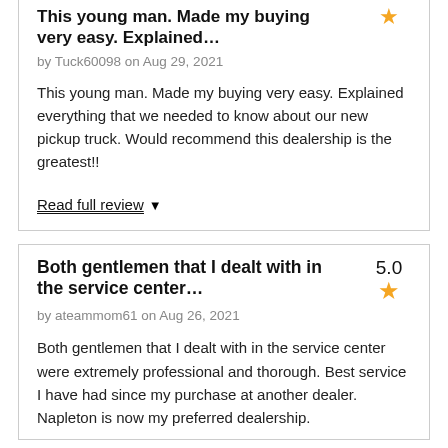This young man. Made my buying very easy. Explained…
by Tuck60098 on Aug 29, 2021
This young man. Made my buying very easy. Explained everything that we needed to know about our new pickup truck. Would recommend this dealership is the greatest!!
Read full review ▼
Both gentlemen that I dealt with in the service center…
by ateammom61 on Aug 26, 2021
Both gentlemen that I dealt with in the service center were extremely professional and thorough. Best service I have had since my purchase at another dealer. Napleton is now my preferred dealership.